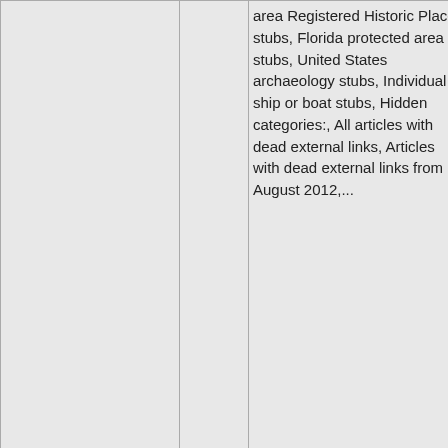| Location | Link | Categories | Image |
| --- | --- | --- | --- |
|  |  | area Registered Historic Place stubs, Florida protected area stubs, United States archaeology stubs, Individual ship or boat stubs, Hidden categories:, All articles with dead external links, Articles with dead external links from August 2012,... |  |
| 75: 6.6mi [icons] | [link] | Museums in Fort Lauderdale, Florida, National Register of Historic Places in Broward County | [photo of building] |